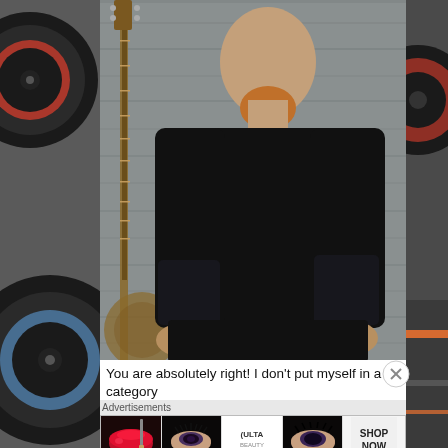[Figure (photo): Bald man with a red beard wearing a black t-shirt, heavily tattooed arms, standing in front of a grey wooden wall with an acoustic guitar leaning against the wall to his left. Decorative vinyl record graphics on left and right sides of the image.]
You are absolutely right! I don't put myself in a category
[Figure (infographic): Advertisements banner showing ULTA Beauty advertisement with close-up images of lips with red lipstick, makeup brush, eye with dramatic makeup, ULTA Beauty logo, another eye makeup close-up, and a SHOP NOW button.]
Advertisements